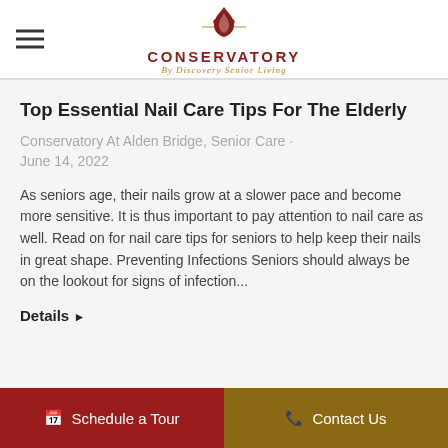[Figure (logo): Conservatory By Discovery Senior Living logo with red leaf/flame icon above the text]
Top Essential Nail Care Tips For The Elderly
Conservatory At Alden Bridge, Senior Care · June 14, 2022
As seniors age, their nails grow at a slower pace and become more sensitive. It is thus important to pay attention to nail care as well. Read on for nail care tips for seniors to help keep their nails in great shape. Preventing Infections Seniors should always be on the lookout for signs of infection...
Details ▶
Schedule a Tour   Contact Us